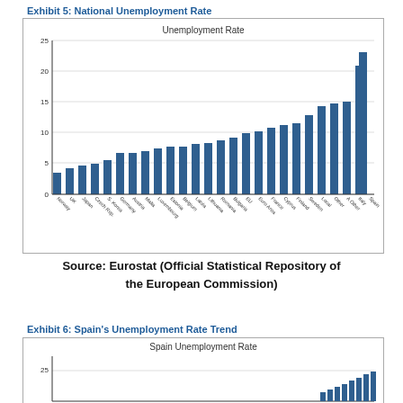Exhibit 5: National Unemployment Rate
[Figure (bar-chart): Unemployment Rate]
Source: Eurostat (Official Statistical Repository of the European Commission)
Exhibit 6: Spain's Unemployment Rate Trend
[Figure (bar-chart): Partial bar chart showing Spain unemployment rate trend, with y-axis showing 25 and bars increasing toward the right]